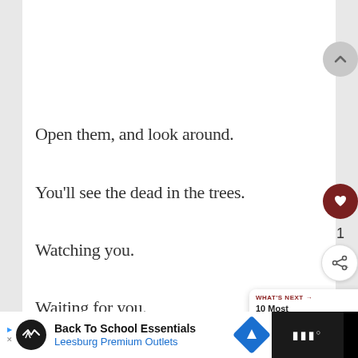Open them, and look around.
You’ll see the dead in the trees.
Watching you.
Waiting for you.
[Figure (screenshot): Web UI elements: scroll-up button (gray circle with up chevron), heart/like button (dark red circle with heart icon), like count '1', share button (circle with share icon), 'WHAT'S NEXT →' panel showing '10 Most Haunted Hik...']
[Figure (screenshot): Advertisement bar: Back To School Essentials - Leesburg Premium Outlets, with logo icons and map icon]